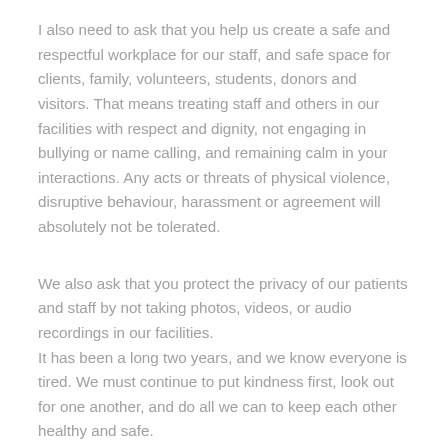I also need to ask that you help us create a safe and respectful workplace for our staff, and safe space for clients, family, volunteers, students, donors and visitors. That means treating staff and others in our facilities with respect and dignity, not engaging in bullying or name calling, and remaining calm in your interactions. Any acts or threats of physical violence, disruptive behaviour, harassment or agreement will absolutely not be tolerated.
We also ask that you protect the privacy of our patients and staff by not taking photos, videos, or audio recordings in our facilities.
It has been a long two years, and we know everyone is tired. We must continue to put kindness first, look out for one another, and do all we can to keep each other healthy and safe.
Take care